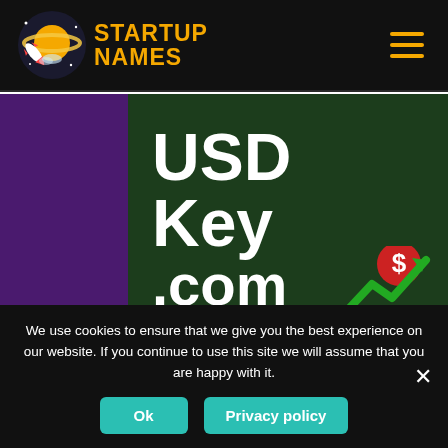[Figure (logo): Startup Names logo with planet/rocket icon and orange text saying STARTUP NAMES]
[Figure (screenshot): Dark green card showing USDKey.com domain name in large white bold text with a red dollar coin and green upward arrow graphic in bottom right]
USDKey.com
We use cookies to ensure that we give you the best experience on our website. If you continue to use this site we will assume that you are happy with it.
Ok
Privacy policy